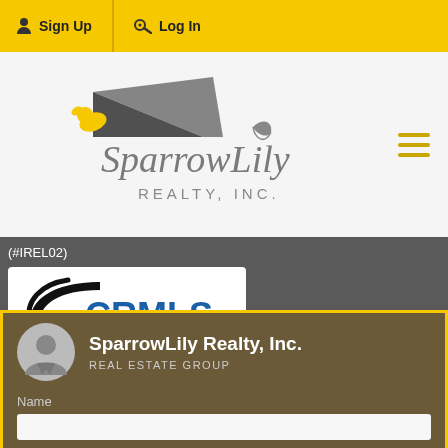Sign Up   Log In
[Figure (logo): SparrowLily Realty, Inc. logo with bird and house roof graphic]
(#IREL02)
[Figure (logo): CRMLS - California Regional Multiple Listing Service, Inc. logo]
SparrowLily Realty, Inc. REAL ESTATE GROUP
Request Info   Schedule Showing
Name